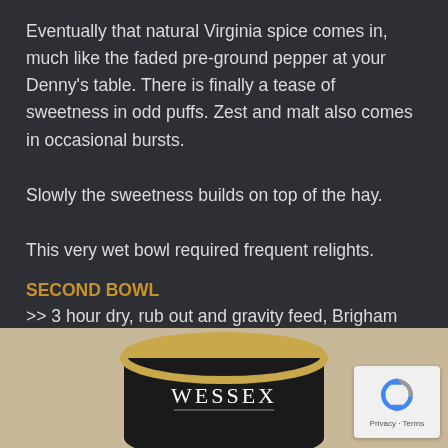Eventually that natural Virginia spice comes in, much like the faded pre-ground pepper at your Denny's table. There is finally a tease of sweetness in odd puffs. Zest and malt also comes in occasional bursts.
Slowly the sweetness builds on top of the hay.
This very wet bowl required frequent relights.
SECOND BOWL
>> 3 hour dry, rub out and gravity feed, Brigham 147
[Figure (photo): Bottom portion of a tin of Wessex pipe tobacco, showing the top of the tin with gold rim and black label with the word WESSEX in white serif font.]